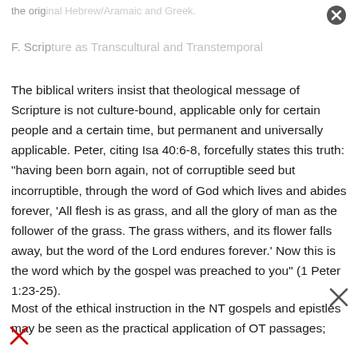the original Hebrew/Aramaic and Greek.
F. Scripture as Transcultural and Transtemporal
The biblical writers insist that theological message of Scripture is not culture-bound, applicable only for certain people and a certain time, but permanent and universally applicable. Peter, citing Isa 40:6-8, forcefully states this truth: "having been born again, not of corruptible seed but incorruptible, through the word of God which lives and abides forever, 'All flesh is as grass, and all the glory of man as the follower of the grass. The grass withers, and its flower falls away, but the word of the Lord endures forever.' Now this is the word which by the gospel was preached to you" (1 Peter 1:23-25).
Most of the ethical instruction in the NT gospels and epistles may be seen as the practical application of OT passages;